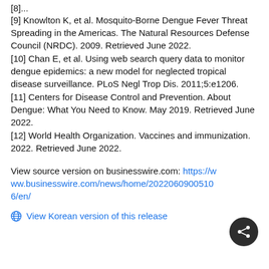[8]...
[9] Knowlton K, et al. Mosquito-Borne Dengue Fever Threat Spreading in the Americas. The Natural Resources Defense Council (NRDC). 2009. Retrieved June 2022.
[10] Chan E, et al. Using web search query data to monitor dengue epidemics: a new model for neglected tropical disease surveillance. PLoS Negl Trop Dis. 2011;5:e1206.
[11] Centers for Disease Control and Prevention. About Dengue: What You Need to Know. May 2019. Retrieved June 2022.
[12] World Health Organization. Vaccines and immunization. 2022. Retrieved June 2022.
View source version on businesswire.com: https://www.businesswire.com/news/home/20220609005106/en/
🌐 View Korean version of this release